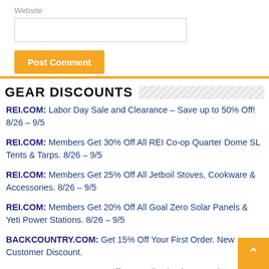Website
GEAR DISCOUNTS
REI.COM: Labor Day Sale and Clearance – Save up to 50% Off! 8/26 – 9/5
REI.COM: Members Get 30% Off All REI Co-op Quarter Dome SL Tents & Tarps. 8/26 – 9/5
REI.COM: Members Get 25% Off All Jetboil Stoves, Cookware & Accessories. 8/26 – 9/5
REI.COM: Members Get 20% Off All Goal Zero Solar Panels & Yeti Power Stations. 8/26 – 9/5
BACKCOUNTRY.COM: Get 15% Off Your First Order. New Customer Discount.
CAMPSAVER.COM: 20% Off One Full-Priced Item and 20% in the Outlet with Coupon Code "Summer20".
OSPREY-PACKS.COM: Labor Day Sale! 25-40% Off Current Model Packs. The Most Versatile Backpacking Packs...